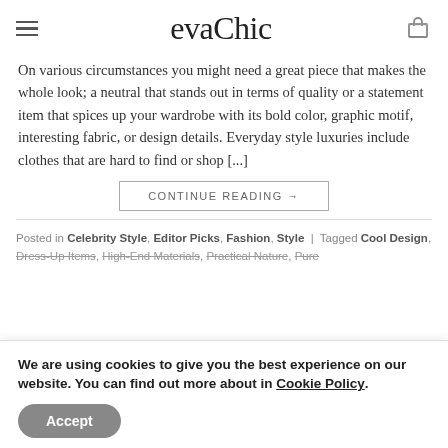evaChic
On various circumstances you might need a great piece that makes the whole look; a neutral that stands out in terms of quality or a statement item that spices up your wardrobe with its bold color, graphic motif, interesting fabric, or design details. Everyday style luxuries include clothes that are hard to find or shop [...]
CONTINUE READING →
Posted in Celebrity Style, Editor Picks, Fashion, Style | Tagged Cool Design, Dress-Up Items, High-End Materials, Practical Nature, Pure
We are using cookies to give you the best experience on our website. You can find out more about in Cookie Policy.
Accept